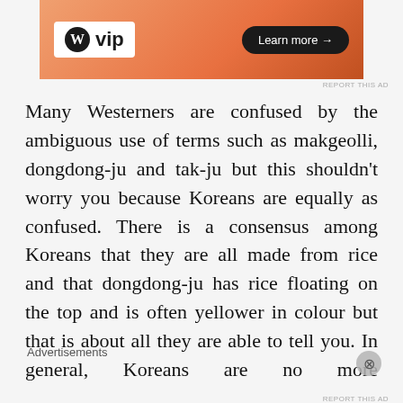[Figure (other): WordPress VIP advertisement banner with orange gradient background and 'Learn more →' button]
Many Westerners are confused by the ambiguous use of terms such as makgeolli, dongdong-ju and tak-ju but this shouldn't worry you because Koreans are equally as confused. There is a consensus among Koreans that they are all made from rice and that dongdong-ju has rice floating on the top and is often yellower in colour but that is about all they are able to tell you. In general, Koreans are no more knowledgeable about the intricacies and processes involved in making rice wine than Westerners might be about making wine.   My first dongdong-ju recipe came from a western source that claimed the nam
Advertisements
[Figure (other): DuckDuckGo advertisement: Search, browse, and email with more privacy. All in One Free App]